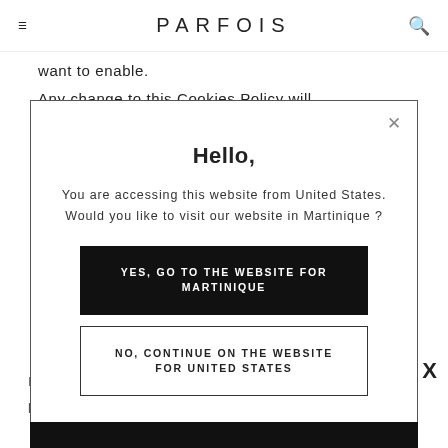PARFOIS
want to enable.
Any change to this Cookies Policy will
[Figure (screenshot): Modal dialog popup with close button (X), title 'Hello,', body text 'You are accessing this website from United States. Would you like to visit our website in Martinique ?', a black button 'YES, GO TO THE WEBSITE FOR MARTINIQUE', and an outlined button 'NO, CONTINUE ON THE WEBSITE FOR UNITED STATES']
I
p
X